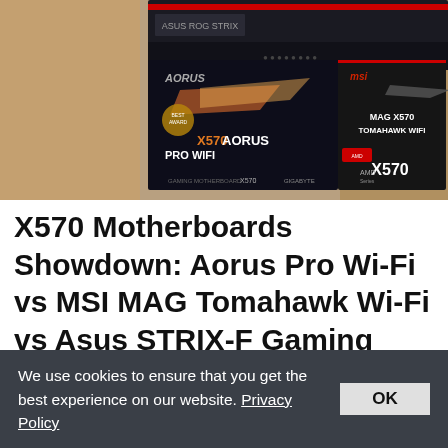[Figure (photo): Photo of three X570 motherboard boxes: Gigabyte X570 Aorus Pro WiFi (left), MSI MAG X570 Tomahawk WiFi (right), and Asus ROG STRIX (top background)]
X570 Motherboards Showdown: Aorus Pro Wi-Fi vs MSI MAG Tomahawk Wi-Fi vs Asus STRIX-F Gaming
[Figure (photo): Bottom partially visible dark/black image strip]
We use cookies to ensure that you get the best experience on our website. Privacy Policy OK